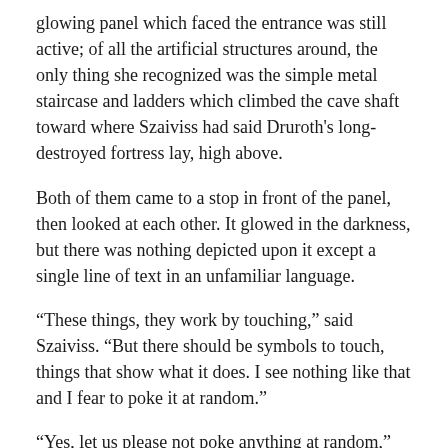glowing panel which faced the entrance was still active; of all the artificial structures around, the only thing she recognized was the simple metal staircase and ladders which climbed the cave shaft toward where Szaiviss had said Druroth's long-destroyed fortress lay, high above.
Both of them came to a stop in front of the panel, then looked at each other. It glowed in the darkness, but there was nothing depicted upon it except a single line of text in an unfamiliar language.
“These things, they work by touching,” said Szaiviss. “But there should be symbols to touch, things that show what it does. I see nothing like that and I fear to poke it at random.”
“Yes, let us please not poke anything at random,” Kuriwa agreed.